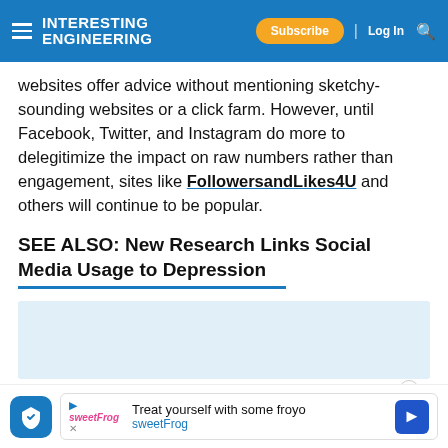INTERESTING ENGINEERING | Subscribe | Log In
websites offer advice without mentioning sketchy-sounding websites or a click farm. However, until Facebook, Twitter, and Instagram do more to delegitimize the impact on raw numbers rather than engagement, sites like FollowersandLikes4U and others will continue to be popular.
SEE ALSO: New Research Links Social Media Usage to Depression
[Figure (other): Advertisement placeholder box (light blue background)]
SHOW COMMENT (0)
Treat yourself with some froyo sweetFrog